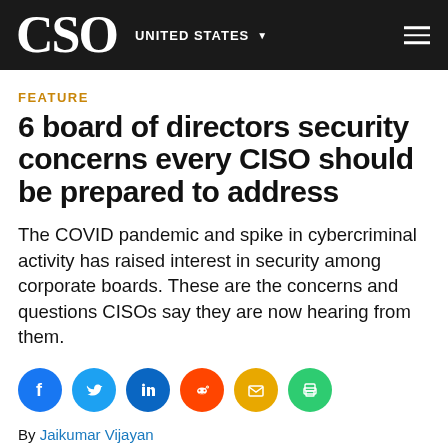CSO | UNITED STATES
FEATURE
6 board of directors security concerns every CISO should be prepared to address
The COVID pandemic and spike in cybercriminal activity has raised interest in security among corporate boards. These are the concerns and questions CISOs say they are now hearing from them.
[Figure (infographic): Social sharing icons row: Facebook, Twitter, LinkedIn, Reddit, Email, Print]
By Jaikumar Vijayan